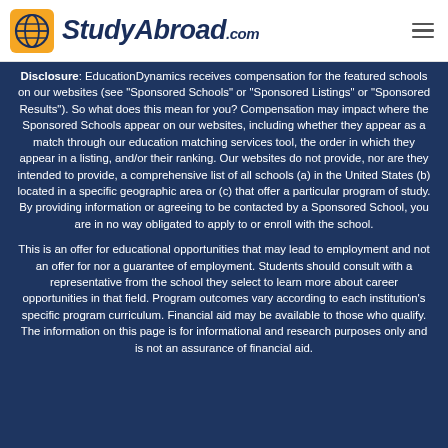StudyAbroad.com
Disclosure: EducationDynamics receives compensation for the featured schools on our websites (see "Sponsored Schools" or "Sponsored Listings" or "Sponsored Results"). So what does this mean for you? Compensation may impact where the Sponsored Schools appear on our websites, including whether they appear as a match through our education matching services tool, the order in which they appear in a listing, and/or their ranking. Our websites do not provide, nor are they intended to provide, a comprehensive list of all schools (a) in the United States (b) located in a specific geographic area or (c) that offer a particular program of study. By providing information or agreeing to be contacted by a Sponsored School, you are in no way obligated to apply to or enroll with the school.
This is an offer for educational opportunities that may lead to employment and not an offer for nor a guarantee of employment. Students should consult with a representative from the school they select to learn more about career opportunities in that field. Program outcomes vary according to each institution's specific program curriculum. Financial aid may be available to those who qualify. The information on this page is for informational and research purposes only and is not an assurance of financial aid.